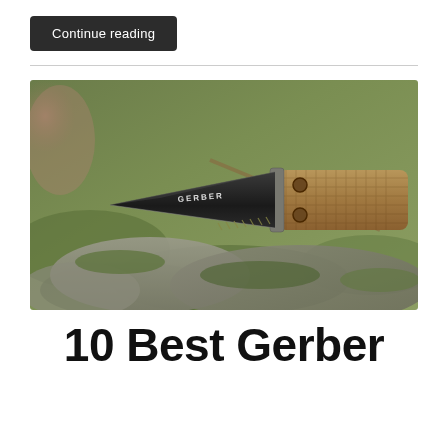Continue reading
[Figure (photo): A Gerber fixed-blade knife with a black blade and tan/coyote brown textured handle, resting on mossy rocks outdoors. The word GERBER is visible on the blade.]
10 Best Gerber